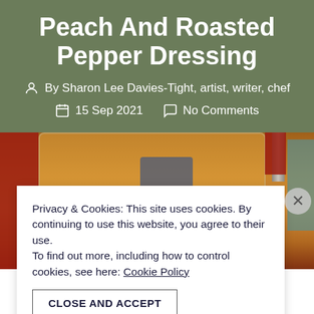Peach And Roasted Pepper Dressing
By Sharon Lee Davies-Tight, artist, writer, chef
15 Sep 2021   No Comments
[Figure (photo): Photo of a blender jar containing orange peach and roasted pepper dressing mixture, with a red blender body visible on the left and teal/blue items on the right]
Privacy & Cookies: This site uses cookies. By continuing to use this website, you agree to their use.
To find out more, including how to control cookies, see here: Cookie Policy
CLOSE AND ACCEPT